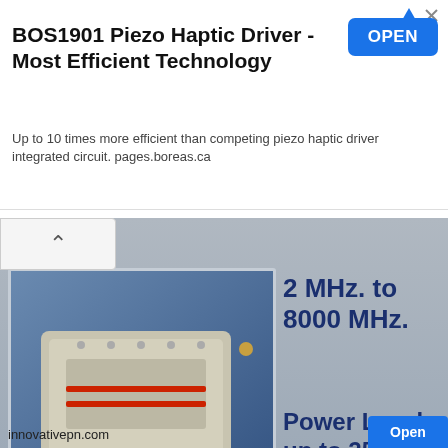[Figure (screenshot): Advertisement banner for BOS1901 Piezo Haptic Driver with title, description, and OPEN button]
BOS1901 Piezo Haptic Driver - Most Efficient Technology
Up to 10 times more efficient than competing piezo haptic driver integrated circuit. pages.boreas.ca
[Figure (photo): RF/microwave power amplifier module shown at angle on blue gradient background, with text: 2 MHz. to 8000 MHz. Power Levels up to 2500W]
2 MHz. to 8000 MHz.
Power Levels up to 2500W
This website uses cookies to ensure you get the best experience on our website.  Learn more
Got it!
innovativepn.com
Top